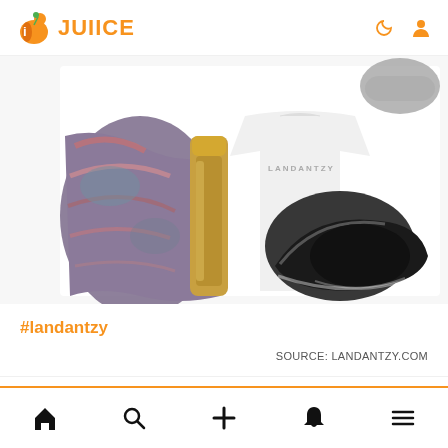JUIICE
[Figure (photo): Flatlay product photo showing colorful workout leggings, gold water bottle, white t-shirt with LANDANTZY text, and black athletic sneakers on white background]
#landantzy
SOURCE: LANDANTZY.COM
0 POSTS | 1 VOTES | 0 Points | 1 VOTES | SHARE
Home | Search | Add | Notifications | Menu